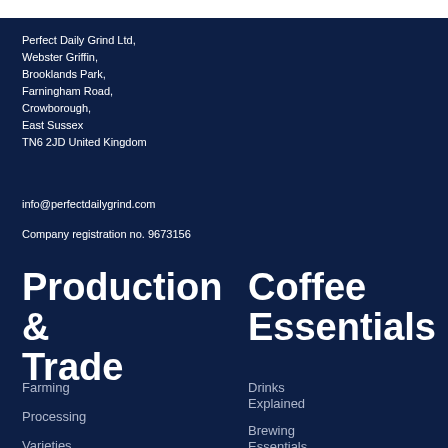Perfect Daily Grind Ltd,
Webster Griffin,
Brooklands Park,
Farningham Road,
Crowborough,
East Sussex
TN6 2JD United Kingdom
info@perfectdailygrind.com
Company registration no. 9673156
Production & Trade
Coffee Essentials
Farming
Processing
Varieties
Drinks Explained
Brewing Essentials
Other Essentials